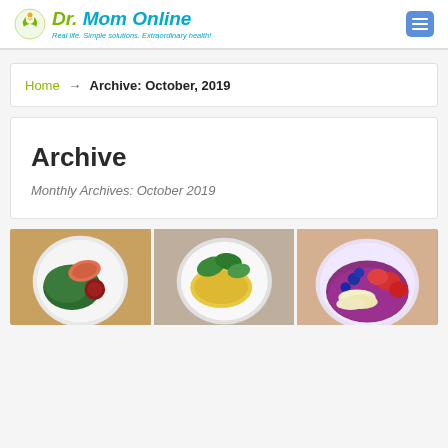Dr. Mom Online — Real life. Simple solutions. Extraordinary health!
Home → Archive: October, 2019
Archive
Monthly Archives: October 2019
[Figure (photo): Three food photos side by side: left shows a plate with salmon, kale, and beet; center shows a plate with eggs and spinach leaves; right shows a bowl with fruit including strawberries, blueberries, and banana slices.]